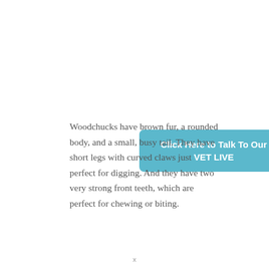[Figure (other): Teal/blue rounded rectangle button with white bold text reading 'Click Here to Talk To Our VET LIVE']
Woodchucks have brown fur, a rounded body, and a small, busy tail. They have short legs with curved claws just perfect for digging. And they have two very strong front teeth, which are perfect for chewing or biting.
x